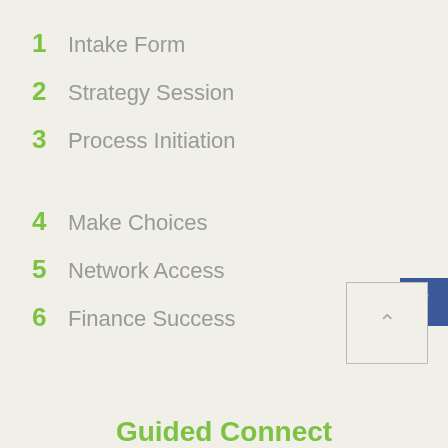1  Intake Form
2  Strategy Session
3  Process Initiation
[Figure (logo): Facebook icon button - blue square with white letter f]
4  Make Choices
5  Network Access
6  Finance Success
[Figure (other): Scroll to top button - square with upward chevron arrow]
Guided Connect